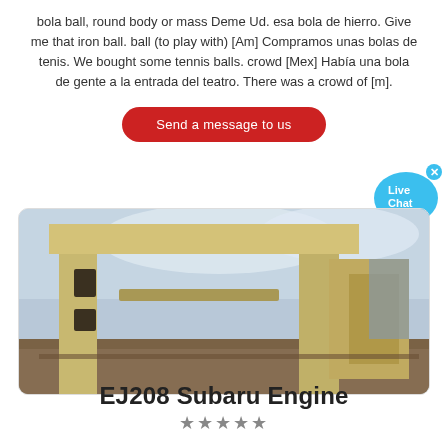bola ball, round body or mass Deme Ud. esa bola de hierro. Give me that iron ball. ball (to play with) [Am] Compramos unas bolas de tenis. We bought some tennis balls. crowd [Mex] Había una bola de gente a la entrada del teatro. There was a crowd of [m].
[Figure (other): Red rounded-rectangle button with white text reading 'Send a message to us']
[Figure (other): Blue speech bubble with 'Live Chat' text and an X close button in the top right corner]
[Figure (photo): Photograph of a large yellow industrial machine (possibly a crusher or shredder) outdoors with debris and buildings in background]
EJ208 Subaru Engine
★★★★★